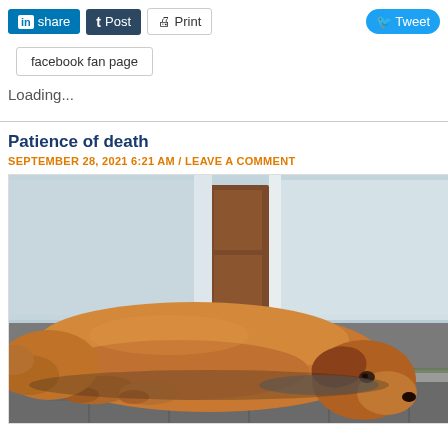[Figure (other): Social share buttons row: LinkedIn share (blue), Tumblr Post (dark blue), Print (grey outline), Tweet (blue pill)]
facebook fan page
Loading...
Patience of death
SEPTEMBER 28, 2021 6:21 AM / LEAVE A COMMENT
[Figure (photo): A golden-brown large dog lying down on a stone/brick sidewalk curb, resting its head on the ground, looking tired or sad. Blurred urban background with glass storefront and a brown door.]